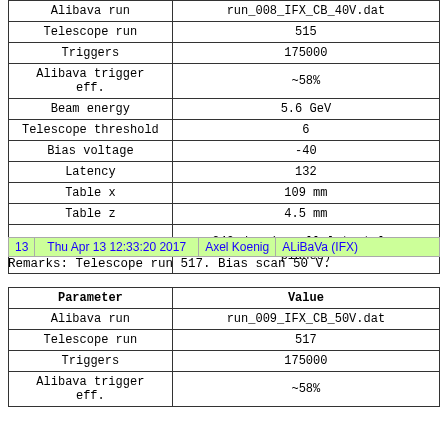| Parameter | Value |
| --- | --- |
| Alibava run | run_008_IFX_CB_40V.dat |
| Telescope run | 515 |
| Triggers | 175000 |
| Alibava trigger eff. | ~58% |
| Beam energy | 5.6 GeV |
| Telescope threshold | 6 |
| Bias voltage | -40 |
| Latency | 132 |
| Table x | 109 mm |
| Table z | 4.5 mm |
| Tabe rot | 240 deg (parallel to tele. planes) |
13 | Thu Apr 13 12:33:20 2017 | Axel Koenig | ALiBaVa (IFX)
Remarks: Telescope run 517. Bias scan 50 V.
| Parameter | Value |
| --- | --- |
| Alibava run | run_009_IFX_CB_50V.dat |
| Telescope run | 517 |
| Triggers | 175000 |
| Alibava trigger eff. | ~58% |